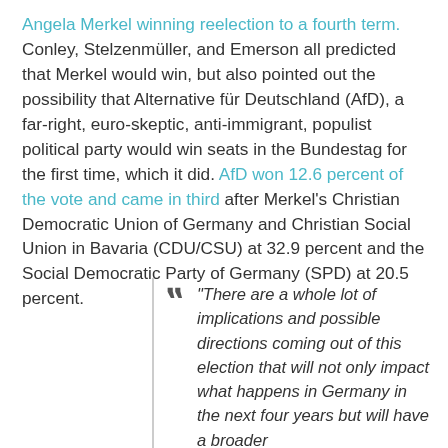Angela Merkel winning reelection to a fourth term. Conley, Stelzenmüller, and Emerson all predicted that Merkel would win, but also pointed out the possibility that Alternative für Deutschland (AfD), a far-right, euro-skeptic, anti-immigrant, populist political party would win seats in the Bundestag for the first time, which it did. AfD won 12.6 percent of the vote and came in third after Merkel's Christian Democratic Union of Germany and Christian Social Union in Bavaria (CDU/CSU) at 32.9 percent and the Social Democratic Party of Germany (SPD) at 20.5 percent.
"There are a whole lot of implications and possible directions coming out of this election that will not only impact what happens in Germany in the next four years but will have a broader